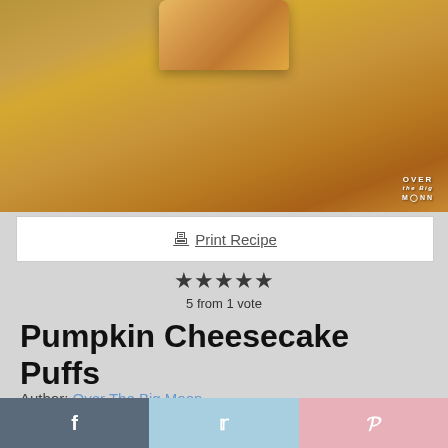[Figure (photo): Close-up photo of pumpkin cheesecake puffs on a wooden surface, with 'Over The Big Moon' watermark in bottom right]
Print Recipe
★★★★★ 5 from 1 vote
Pumpkin Cheesecake Puffs
Author: Over The Big Moon